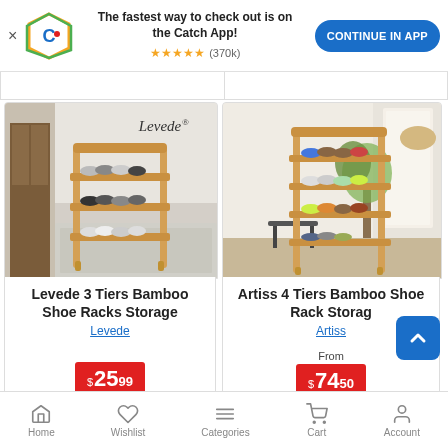[Figure (screenshot): App banner with Catch logo, text 'The fastest way to check out is on the Catch App!', 5-star rating (370k reviews), and 'CONTINUE IN APP' blue button]
[Figure (photo): Levede 3 Tiers Bamboo Shoe Rack with shoes on shelves, on a rug in a living space]
Levede 3 Tiers Bamboo Shoe Racks Storage
Levede
$25.99
[Figure (photo): Artiss 4 Tiers Bamboo Shoe Rack with colorful shoes on shelves in a bright hallway]
Artiss 4 Tiers Bamboo Shoe Rack Storage
Artiss
From $74.50
Home   Wishlist   Categories   Cart   Account